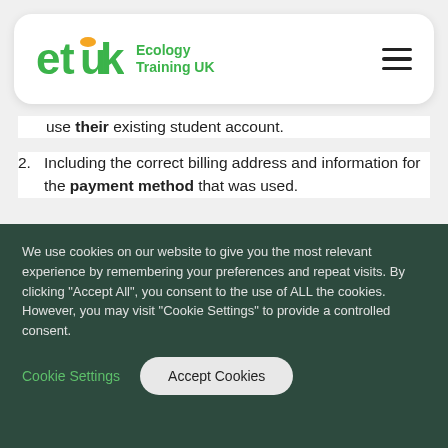[Figure (logo): Ecology Training UK (etuk) logo with green text and orange accent]
use their existing student account.
2. Including the correct billing address and information for the payment method that was used.
3. Leave us a note in the 'additional
We use cookies on our website to give you the most relevant experience by remembering your preferences and repeat visits. By clicking "Accept All", you consent to the use of ALL the cookies. However, you may visit "Cookie Settings" to provide a controlled consent.